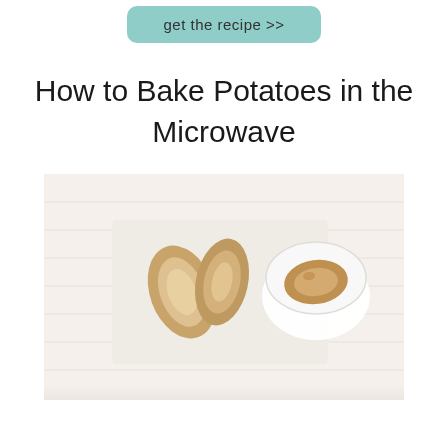get the recipe >>
How to Bake Potatoes in the Microwave
[Figure (photo): Overhead photo of baked/microwave potatoes on a white background – sliced potatoes on a white cutting board next to a whole potato in a small white bowl, on a white wood plank surface.]